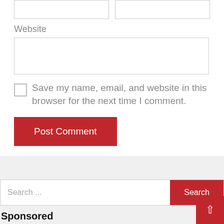Website
Save my name, email, and website in this browser for the next time I comment.
Post Comment
Search ...
Search
Sponsored